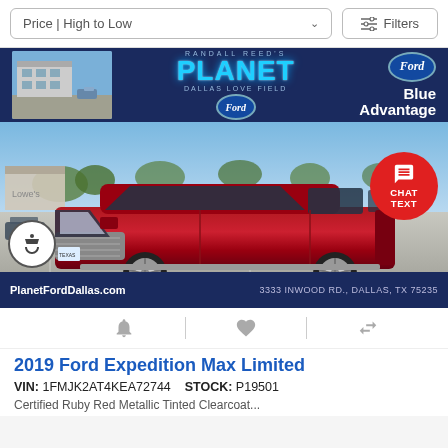Price | High to Low   Filters
[Figure (photo): Planet Ford Dallas dealership advertisement banner and 2019 red Ford Expedition Max Limited SUV parked in a lot. Bottom bar shows PlanetFordDallas.com and 3333 INWOOD RD., DALLAS, TX 75235. A red CHAT TEXT button overlays the top right of the car photo.]
2019 Ford Expedition Max Limited
VIN: 1FMJK2AT4KEA72744    STOCK: P19501
Certified Ruby Red Metallic Tinted Clearcoat...